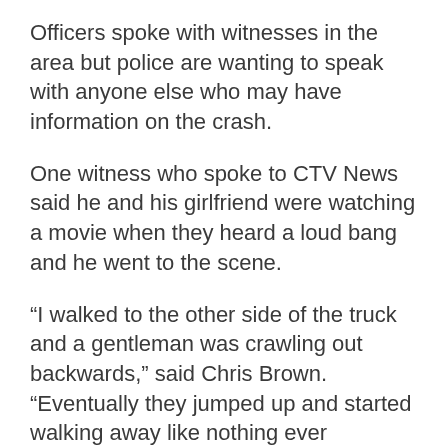Officers spoke with witnesses in the area but police are wanting to speak with anyone else who may have information on the crash.
One witness who spoke to CTV News said he and his girlfriend were watching a movie when they heard a loud bang and he went to the scene.
“I walked to the other side of the truck and a gentleman was crawling out backwards,” said Chris Brown. “Eventually they jumped up and started walking away like nothing ever happened and that was about it. We were trying to tell them, ‘walking away will only make this worse for you.’”
If anyone has additional information they want